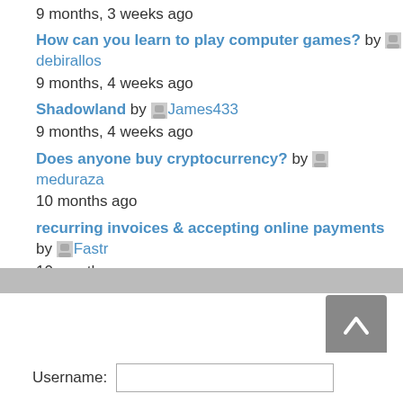9 months, 3 weeks ago
How can you learn to play computer games? by debirallos
9 months, 4 weeks ago
Shadowland by James433
9 months, 4 weeks ago
Does anyone buy cryptocurrency? by meduraza
10 months ago
recurring invoices & accepting online payments by Fastr
10 months ago
Username: